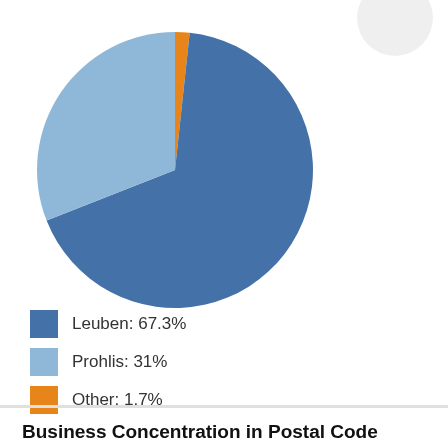[Figure (pie-chart): ]
Leuben: 67.3%
Prohlis: 31%
Other: 1.7%
Business Concentration in Postal Code 01259